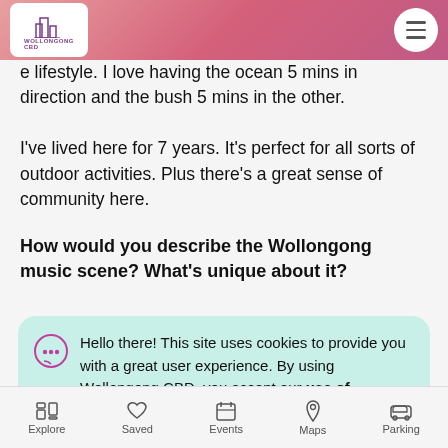Wollongong CBD logo and menu navigation
e lifestyle. I love having the ocean 5 mins in direction and the bush 5 mins in the other. I've lived here for 7 years. It's perfect for all sorts of outdoor activities. Plus there's a great sense of community here.
How would you describe the Wollongong music scene? What's unique about it?
Hello there! This site uses cookies to provide you with a great user experience. By using Wollongong CBD, you accept our use of cookies.
of the week.
Explore | Saved | Events | Maps | Parking